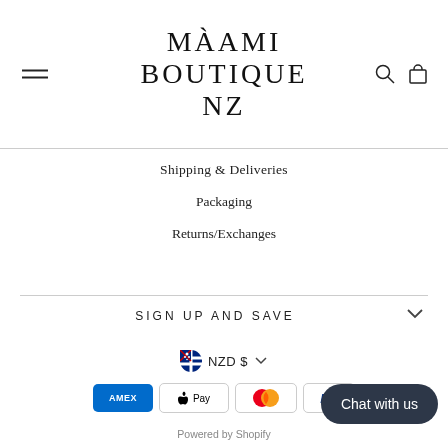[Figure (logo): MAAMI BOUTIQUE NZ logo in large serif letters, with hamburger menu icon on left and search/cart icons on right]
Shipping & Deliveries
Packaging
Returns/Exchanges
SIGN UP AND SAVE
NZD $
[Figure (other): Payment method icons: American Express, Apple Pay, Mastercard, PayPal]
Chat with us
Powered by Shopify